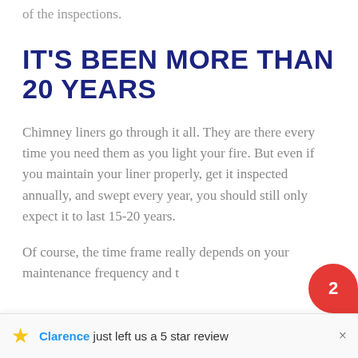of the inspections.
IT'S BEEN MORE THAN 20 YEARS
Chimney liners go through it all. They are there every time you need them as you light your fire. But even if you maintain your liner properly, get it inspected annually, and swept every year, you should still only expect it to last 15-20 years.
Of course, the time frame really depends on your maintenance frequency and t…
Clarence just left us a 5 star review